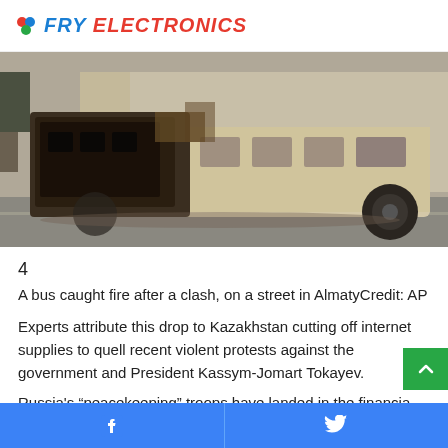FRY ELECTRONICS
[Figure (photo): A burned-out bus on a street in Almaty, Kazakhstan, showing fire damage to the vehicle's body and frame.]
4
A bus caught fire after a clash, on a street in AlmatyCredit: AP
Experts attribute this drop to Kazakhstan cutting off internet supplies to quell recent violent protests against the government and President Kassym-Jomart Tokayev.
Russia's “peacekeeping” troops have landed in the financia
Facebook Twitter